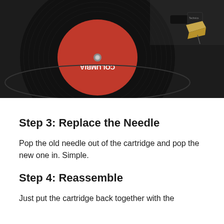[Figure (photo): Close-up photograph of a vinyl record on a turntable. A red Columbia Records label is visible in the center of the black vinyl record, with a Technics cartridge/stylus arm visible in the upper right corner.]
Step 3: Replace the Needle
Pop the old needle out of the cartridge and pop the new one in. Simple.
Step 4: Reassemble
Just put the cartridge back together with the